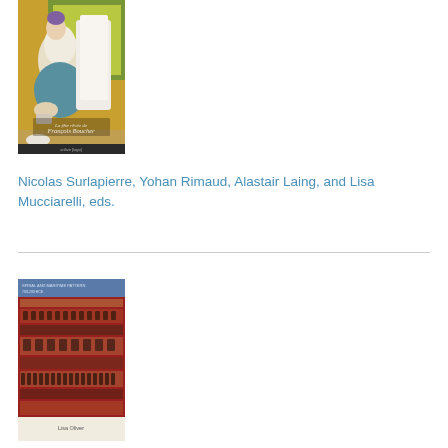[Figure (photo): Book cover for 'La fête rêvée de François Boucher' showing a Rococo painting of a woman in 18th century dress]
Nicolas Surlapierre, Yohan Rimaud, Alastair Laing, and Lisa Mucciarelli, eds.
[Figure (photo): Book cover showing a textile or tapestry with red and patterned fabric design, with small text at top and bottom]